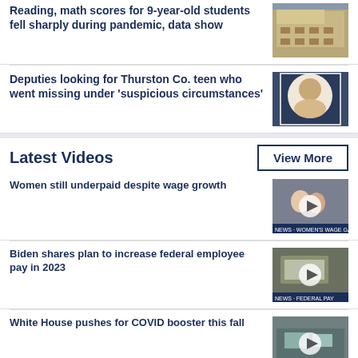Reading, math scores for 9-year-old students fell sharply during pandemic, data show
[Figure (photo): Classroom with students at desks]
Deputies looking for Thurston Co. teen who went missing under 'suspicious circumstances'
[Figure (photo): Young man photo portrait]
Latest Videos
View More
Women still underpaid despite wage growth
[Figure (photo): Video thumbnail: two women, news broadcast]
Biden shares plan to increase federal employee pay in 2023
[Figure (photo): Video thumbnail: industrial/medical equipment]
White House pushes for COVID booster this fall
[Figure (photo): Video thumbnail: medical/lab setting]